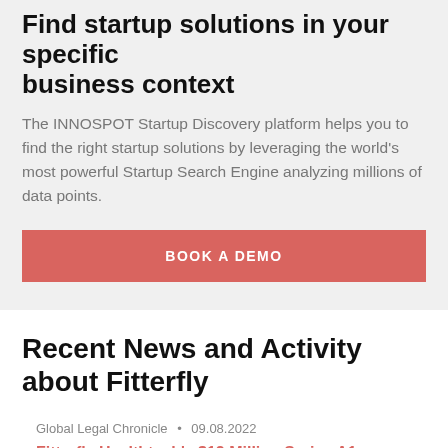Find startup solutions in your specific business context
The INNOSPOT Startup Discovery platform helps you to find the right startup solutions by leveraging the world's most powerful Startup Search Engine analyzing millions of data points.
BOOK A DEMO
Recent News and Activity about Fitterfly
Global Legal Chronicle · 09.08.2022
Fitterfly Healthtech's $12 Million Series A1 Funding Round
Argus Partners advised Fitterfly Healthtech Private